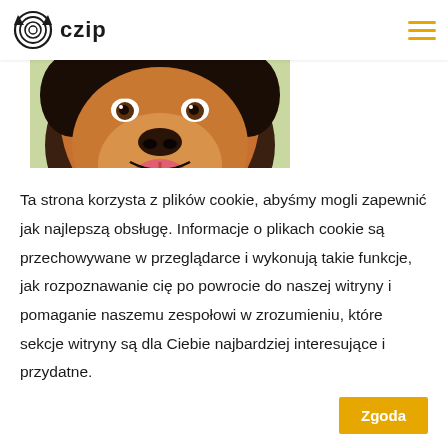[Figure (logo): CZIP logo with paw print icon and text 'czip' in bold stylized font]
[Figure (photo): Close-up photo of a dog (black and tan mix breed) with tongue out, smiling, outdoors on green grass]
Darowizna
Zorba – wesprzyj
Ta strona korzysta z plików cookie, abyśmy mogli zapewnić jak najlepszą obsługę. Informacje o plikach cookie są przechowywane w przeglądarce i wykonują takie funkcje, jak rozpoznawanie cię po powrocie do naszej witryny i pomaganie naszemu zespołowi w zrozumieniu, które sekcje witryny są dla Ciebie najbardziej interesujące i przydatne.
Zgoda